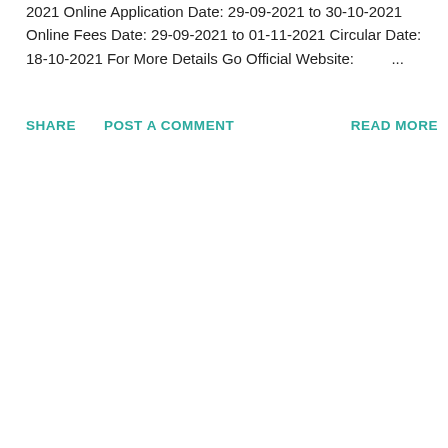2021 Online Application Date: 29-09-2021 to 30-10-2021 Online Fees Date: 29-09-2021 to 01-11-2021 Circular Date: 18-10-2021 For More Details Go Official Website: ...
SHARE   POST A COMMENT   READ MORE